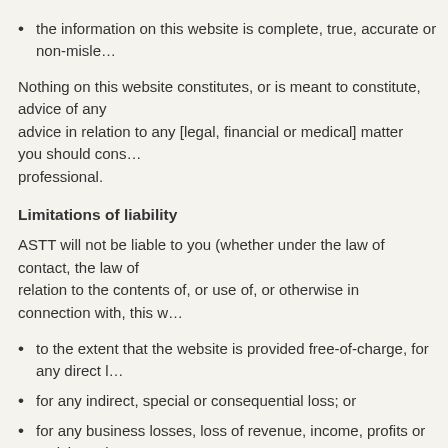the information on this website is complete, true, accurate or non-misle…
Nothing on this website constitutes, or is meant to constitute, advice of any… advice in relation to any [legal, financial or medical] matter you should cons… professional.
Limitations of liability
ASTT will not be liable to you (whether under the law of contact, the law of… relation to the contents of, or use of, or otherwise in connection with, this w…
to the extent that the website is provided free-of-charge, for any direct l…
for any indirect, special or consequential loss; or
for any business losses, loss of revenue, income, profits or anticipated… or business relationships, loss of reputation or goodwill, or loss or corru… data.
These limitations of liability apply even if ASTT has been expressly advised…
Reasonableness